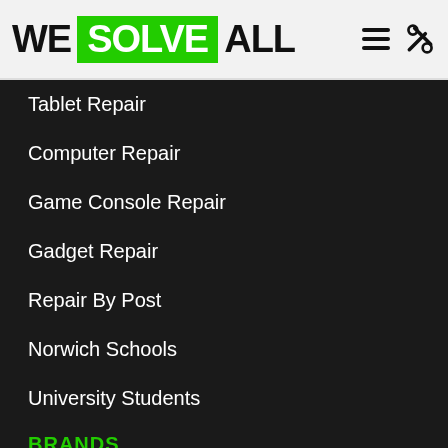WE SOLVE ALL
Tablet Repair
Computer Repair
Game Console Repair
Gadget Repair
Repair By Post
Norwich Schools
University Students
BRANDS
Apple
Google
Huawei
LG